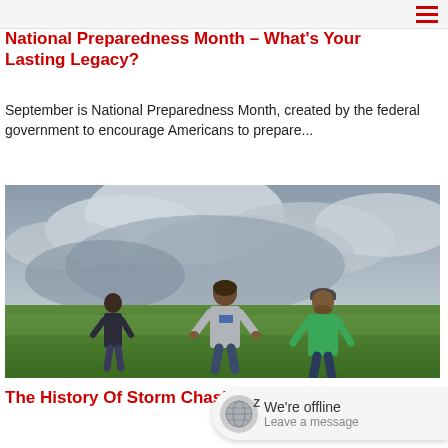National Preparedness Month – What's Your Lasting Legacy?
September is National Preparedness Month, created by the federal government to encourage Americans to prepare...
[Figure (photo): Three people standing in a green field with their backs to the camera, looking at a dramatic cloudy sky. The person on the left wears a dark top, the middle person wears a gray shirt with blue text, and the right person wears a bright green shirt and a cap.]
The History Of Storm Chasing